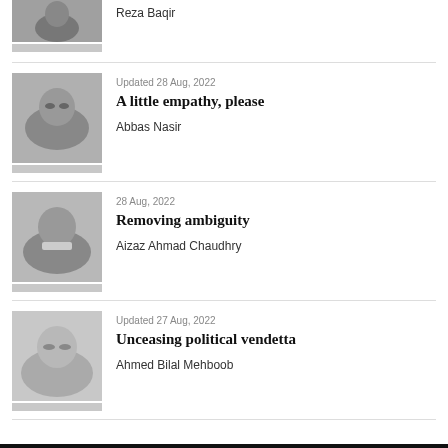[Figure (photo): Partial headshot of Reza Baqir, top of page, cropped]
Reza Baqir
[Figure (photo): Headshot of Abbas Nasir, man with glasses smiling]
Updated 28 Aug, 2022
A little empathy, please
Abbas Nasir
[Figure (photo): Headshot of Aizaz Ahmad Chaudhry, older man in suit]
28 Aug, 2022
Removing ambiguity
Aizaz Ahmad Chaudhry
[Figure (photo): Headshot of Ahmed Bilal Mehboob, older man with glasses]
Updated 27 Aug, 2022
Unceasing political vendetta
Ahmed Bilal Mehboob